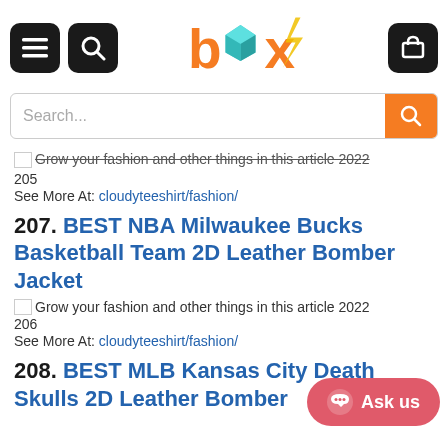box — navigation header with search bar
Grow your fashion and other things in this article 2022
205
See More At: cloudyteeshirt/fashion/
207. BEST NBA Milwaukee Bucks Basketball Team 2D Leather Bomber Jacket
Grow your fashion and other things in this article 2022
206
See More At: cloudyteeshirt/fashion/
208. BEST MLB Kansas City Death Skulls 2D Leather Bomber